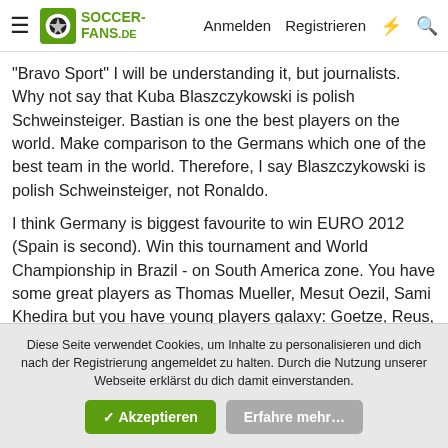Soccer-Fans.de — Anmelden  Registrieren
"Bravo Sport" I will be understanding it, but journalists. Why not say that Kuba Blaszczykowski is polish Schweinsteiger. Bastian is one the best players on the world. Make comparison to the Germans which one of the best team in the world. Therefore, I say Blaszczykowski is polish Schweinsteiger, not Ronaldo.
I think Germany is biggest favourite to win EURO 2012 (Spain is second). Win this tournament and World Championship in Brazil - on South America zone. You have some great players as Thomas Mueller, Mesut Oezil, Sami Khedira but you have young players galaxy: Goetze, Reus, Schuerrle. Incredible team - in RSA you have very good team and now joined many, young talents. I would like that Miroslav Klose will be in good form and score a goals in Poland and Ukraine.
Diese Seite verwendet Cookies, um Inhalte zu personalisieren und dich nach der Registrierung angemeldet zu halten. Durch die Nutzung unserer Webseite erklärst du dich damit einverstanden.
✓ Akzeptieren   Erfahre mehr…